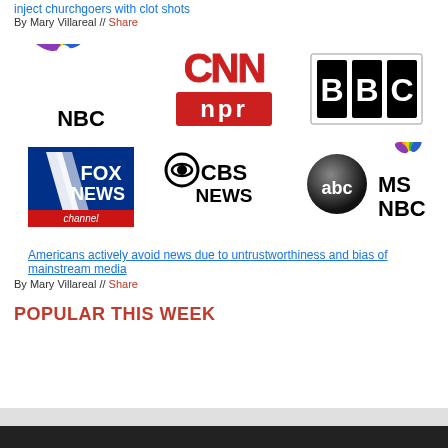inject churchgoers with clot shots
By Mary Villareal // Share
[Figure (logo): Grid of news media logos: NBC, CNN, BBC, NPR, Fox News, CBS News, ABC, MSNBC]
Americans actively avoid news due to untrustworthiness and bias of mainstream media
By Mary Villareal // Share
POPULAR THIS WEEK